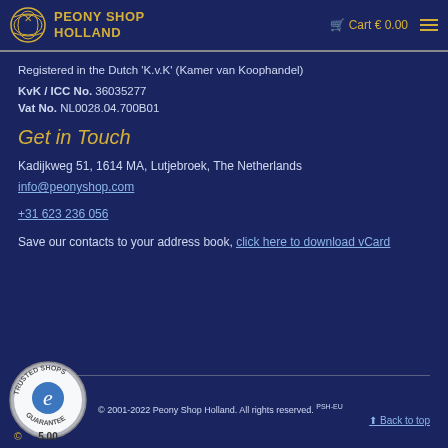Peony Shop Holland | Cart € 0.00
Registered in the Dutch 'K.v.K' (Kamer van Koophandel)
KvK / ICC No. 36035277
Vat No. NL0028.04.700B01
Get in Touch
Kadijkweg 51, 1614 MA, Lutjebroek, The Netherlands
info@peonyshop.com
+31 623 236 056
Save our contacts to your address book, click here to download vCard
[Figure (logo): Trusted Shops guarantee badge with 'e' logo, rating 5.00]
© 2001-2022 Peony Shop Holland. All rights reserved. PSH-EU | Back to top